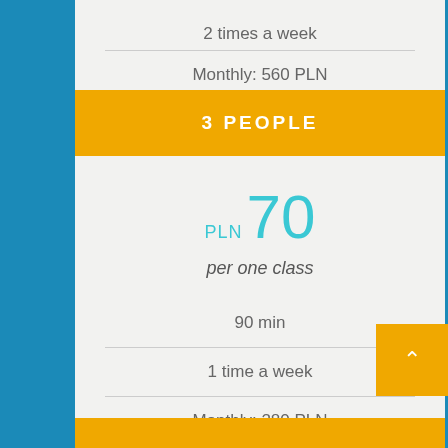2 times a week
Monthly: 560 PLN
3 PEOPLE
PLN 70
per one class
90 min
1 time a week
Monthly: 280 PLN